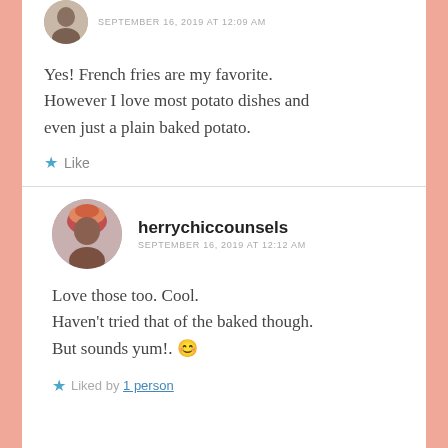SEPTEMBER 16, 2019 AT 12:09 AM
Yes! French fries are my favorite. However I love most potato dishes and even just a plain baked potato.
Like
herrychiccounsels
SEPTEMBER 16, 2019 AT 12:12 AM
Love those too. Cool. Haven't tried that of the baked though. But sounds yum!. 😊
Liked by 1 person